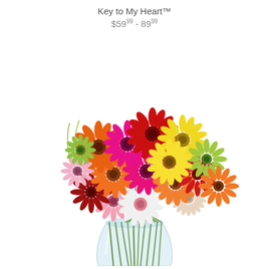Key to My Heart™
$59.99 - 89.99
[Figure (photo): A colorful bouquet of gerbera daisies in various colors including red, orange, pink, yellow, white, and green, arranged in a clear glass vase with visible green stems crossing inside the vase.]